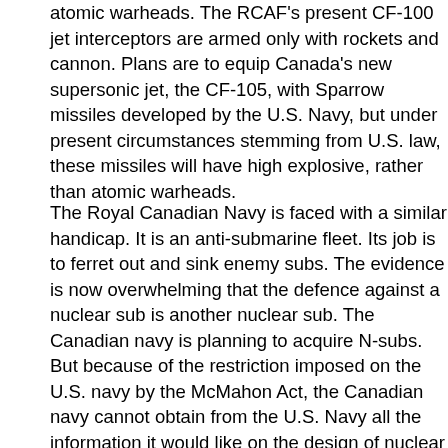atomic warheads. The RCAF's present CF-100 jet interceptors are armed only with rockets and cannon. Plans are to equip Canada's new supersonic jet, the CF-105, with Sparrow missiles developed by the U.S. Navy, but under present circumstances stemming from U.S. law, these missiles will have high explosive, rather than atomic warheads.
The Royal Canadian Navy is faced with a similar handicap. It is an anti-submarine fleet. Its job is to ferret out and sink enemy subs. The evidence is now overwhelming that the defence against a nuclear sub is another nuclear sub. The Canadian navy is planning to acquire N-subs. But because of the restriction imposed on the U.S. navy by the McMahon Act, the Canadian navy cannot obtain from the U.S. Navy all the information it would like on the design of nuclear submarines. So Canada is working, with British help, on the development of its own atomic subs, needlessly duplicating research the U.S. already has done.